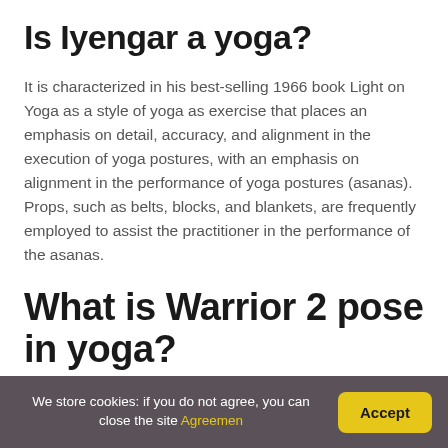Is Iyengar a yoga?
It is characterized in his best-selling 1966 book Light on Yoga as a style of yoga as exercise that places an emphasis on detail, accuracy, and alignment in the execution of yoga postures, with an emphasis on alignment in the performance of yoga postures (asanas). Props, such as belts, blocks, and blankets, are frequently employed to assist the practitioner in the performance of the asanas.
What is Warrior 2 pose in yoga?
We store cookies: if you do not agree, you can close the site Agreemen